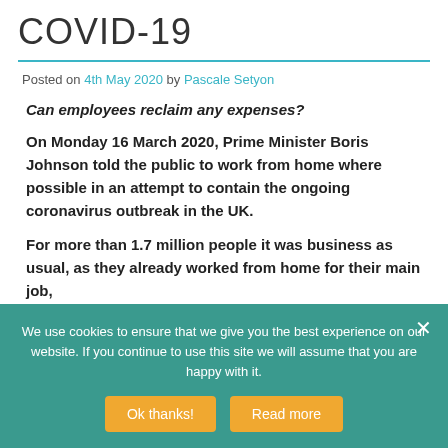COVID-19
Posted on 4th May 2020 by Pascale Setyon
Can employees reclaim any expenses?
On Monday 16 March 2020, Prime Minister Boris Johnson told the public to work from home where possible in an attempt to contain the ongoing coronavirus outbreak in the UK.
For more than 1.7 million people it was business as usual, as they already worked from home for their main job,
We use cookies to ensure that we give you the best experience on our website. If you continue to use this site we will assume that you are happy with it.